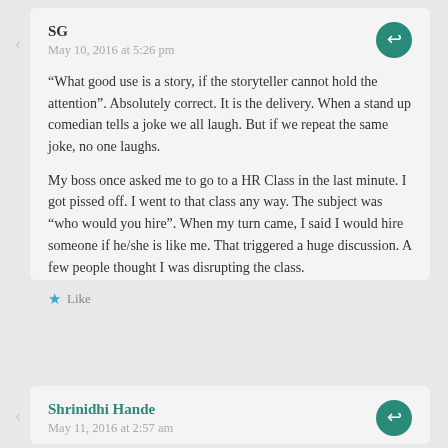SG
May 10, 2016 at 5:26 pm
“What good use is a story, if the storyteller cannot hold the attention”. Absolutely correct. It is the delivery. When a stand up comedian tells a joke we all laugh. But if we repeat the same joke, no one laughs.

My boss once asked me to go to a HR Class in the last minute. I got pissed off. I went to that class any way. The subject was “who would you hire”. When my turn came, I said I would hire someone if he/she is like me. That triggered a huge discussion. A few people thought I was disrupting the class.
Like
Shrinidhi Hande
May 11, 2016 at 2:57 am